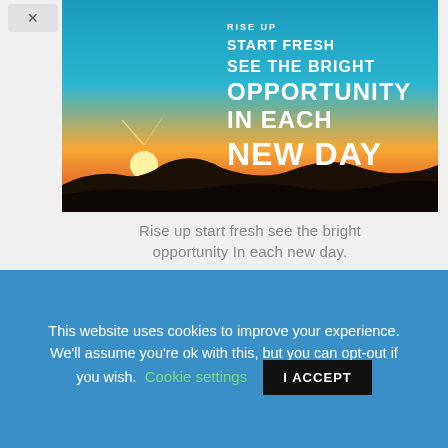[Figure (photo): Sunrise over dark landscape hills with motivational text overlay: RISE UP / START FRESH / SEE THE BRIGHT / OPPORTUNITY / IN EACH / NEW DAY in white bold text on teal/blue sky background]
Rise up start fresh see the bright opportunity In each new day.
[Figure (photo): Partial view of a second inspirational image with green/teal bokeh background and partial cursive/script text visible]
This website uses cookies to improve your experience. We'll assume you're ok with this, but you can opt-out if you wish. Cookie settings I ACCEPT